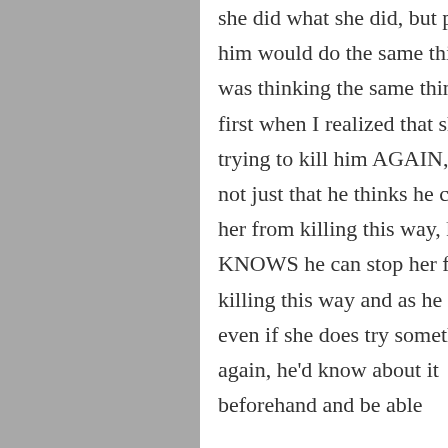she did what she did, but part of him would do the same thing, I was thinking the same thing at first when I realized that she was trying to kill him AGAIN, but it's not just that he thinks he can stop her from killing this way, he KNOWS he can stop her from killing this way and as he says, even if she does try something again, he'd know about it beforehand and be able